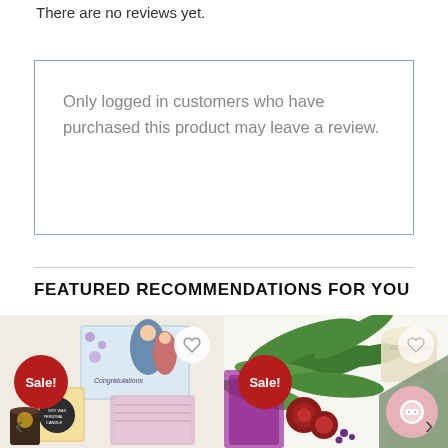There are no reviews yet.
Only logged in customers who have purchased this product may leave a review.
FEATURED RECOMMENDATIONS FOR YOU
[Figure (photo): Product photo of a congratulations gift set with candle, shown with a Sale! badge and wishlist heart icon]
[Figure (photo): Product photo of a floral arrangement with greenery, roses, and candle, shown with a Sale! badge and wishlist heart icon]